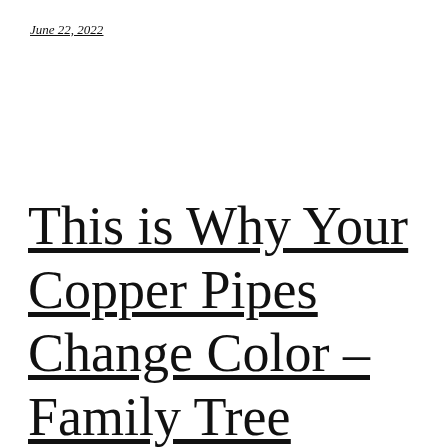June 22, 2022
This is Why Your Copper Pipes Change Color – Family Tree Websites